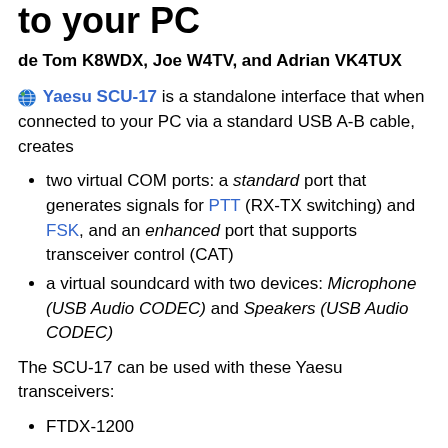to your PC
de Tom K8WDX, Joe W4TV, and Adrian VK4TUX
Yaesu SCU-17 is a standalone interface that when connected to your PC via a standard USB A-B cable, creates
two virtual COM ports: a standard port that generates signals for PTT (RX-TX switching) and FSK, and an enhanced port that supports transceiver control (CAT)
a virtual soundcard with two devices: Microphone (USB Audio CODEC) and Speakers (USB Audio CODEC)
The SCU-17 can be used with these Yaesu transceivers:
FTDX-1200
FTDX-5000
FTDX-9000
FT-450
FT-950
FT-2000
FT-817ND